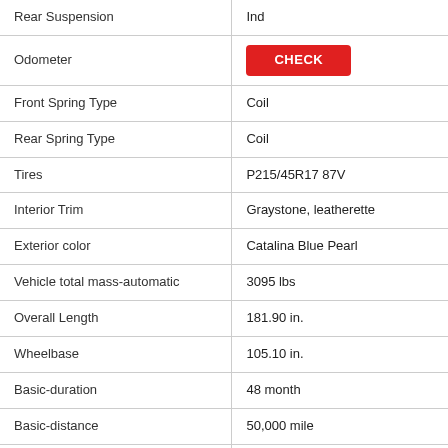| Field | Value |
| --- | --- |
| Rear Suspension | Ind |
| Odometer | CHECK |
| Front Spring Type | Coil |
| Rear Spring Type | Coil |
| Tires | P215/45R17 87V |
| Interior Trim | Graystone, leatherette |
| Exterior color | Catalina Blue Pearl |
| Vehicle total mass-automatic | 3095 lbs |
| Overall Length | 181.90 in. |
| Wheelbase | 105.10 in. |
| Basic-duration | 48 month |
| Basic-distance | 50,000 mile |
| Powertrain-duration | 72 month |
| Powertrain-distance | 70,000 mile |
| Destination Charge | $949.4 USD |